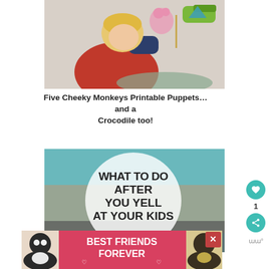[Figure (photo): Child with blonde hair in red and navy shirt playing with printable puppet cutouts including monkeys and a crocodile]
Five Cheeky Monkeys Printable Puppets… and a Crocodile too!
[Figure (photo): Photo with circular overlay text reading WHAT TO DO AFTER YOU YELL AT YOUR KIDS, showing hands holding something]
[Figure (photo): Advertisement banner: BEST FRIENDS FOREVER with cat images and a close button X]